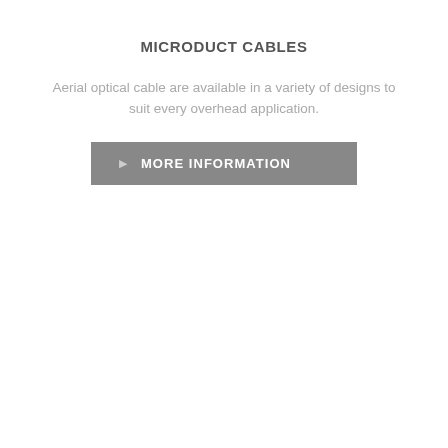MICRODUCT CABLES
Aerial optical cable are available in a variety of designs to suit every overhead application.
MORE INFORMATION